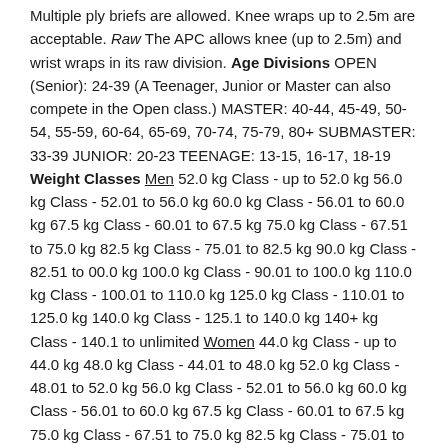Multiple ply briefs are allowed. Knee wraps up to 2.5m are acceptable. Raw The APC allows knee (up to 2.5m) and wrist wraps in its raw division. Age Divisions OPEN (Senior): 24-39 (A Teenager, Junior or Master can also compete in the Open class.) MASTER: 40-44, 45-49, 50-54, 55-59, 60-64, 65-69, 70-74, 75-79, 80+ SUBMASTER: 33-39 JUNIOR: 20-23 TEENAGE: 13-15, 16-17, 18-19 Weight Classes Men 52.0 kg Class - up to 52.0 kg 56.0 kg Class - 52.01 to 56.0 kg 60.0 kg Class - 56.01 to 60.0 kg 67.5 kg Class - 60.01 to 67.5 kg 75.0 kg Class - 67.51 to 75.0 kg 82.5 kg Class - 75.01 to 82.5 kg 90.0 kg Class - 82.51 to 00.0 kg 100.0 kg Class - 90.01 to 100.0 kg 110.0 kg Class - 100.01 to 110.0 kg 125.0 kg Class - 110.01 to 125.0 kg 140.0 kg Class - 125.1 to 140.0 kg 140+ kg Class - 140.1 to unlimited Women 44.0 kg Class - up to 44.0 kg 48.0 kg Class - 44.01 to 48.0 kg 52.0 kg Class - 48.01 to 52.0 kg 56.0 kg Class - 52.01 to 56.0 kg 60.0 kg Class - 56.01 to 60.0 kg 67.5 kg Class - 60.01 to 67.5 kg 75.0 kg Class - 67.51 to 75.0 kg 82.5 kg Class - 75.01 to 82.5 kg 90.0 kg Class - 82.51 to 90.0 kg 90.0+ kg Class - 90.01 to unlimited Membership Fee $30.00 for adults and $15.00 for teenagers. Contact Information L.B. Baker,